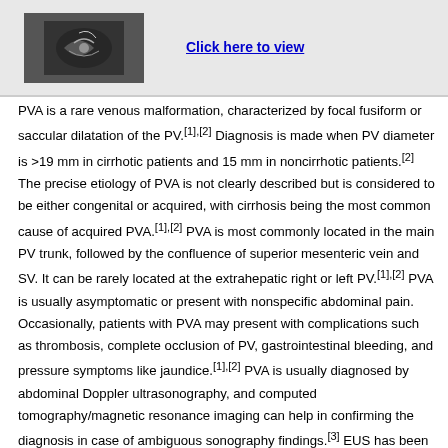[Figure (photo): Medical image (likely ultrasound or CT scan) showing portal vein, greyscale, top-left of figure box]
Click here to view
PVA is a rare venous malformation, characterized by focal fusiform or saccular dilatation of the PV.[1],[2] Diagnosis is made when PV diameter is >19 mm in cirrhotic patients and 15 mm in noncirrhotic patients.[2] The precise etiology of PVA is not clearly described but is considered to be either congenital or acquired, with cirrhosis being the most common cause of acquired PVA.[1],[2] PVA is most commonly located in the main PV trunk, followed by the confluence of superior mesenteric vein and SV. It can be rarely located at the extrahepatic right or left PV.[1],[2] PVA is usually asymptomatic or present with nonspecific abdominal pain. Occasionally, patients with PVA may present with complications such as thrombosis, complete occlusion of PV, gastrointestinal bleeding, and pressure symptoms like jaundice.[1],[2] PVA is usually diagnosed by abdominal Doppler ultrasonography, and computed tomography/magnetic resonance imaging can help in confirming the diagnosis in case of ambiguous sonography findings.[3] EUS has been rarely used to diagnose PVA, and its detailed findings have not